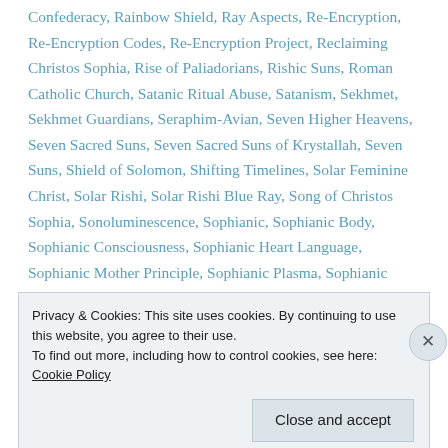Confederacy, Rainbow Shield, Ray Aspects, Re-Encryption, Re-Encryption Codes, Re-Encryption Project, Reclaiming Christos Sophia, Rise of Paliadorians, Rishic Suns, Roman Catholic Church, Satanic Ritual Abuse, Satanism, Sekhmet, Sekhmet Guardians, Seraphim-Avian, Seven Higher Heavens, Seven Sacred Suns, Seven Sacred Suns of Krystallah, Seven Suns, Shield of Solomon, Shifting Timelines, Solar Feminine Christ, Solar Rishi, Solar Rishi Blue Ray, Song of Christos Sophia, Sonoluminescence, Sophianic, Sophianic Body, Sophianic Consciousness, Sophianic Heart Language, Sophianic Mother Principle, Sophianic Plasma, Sophianic Plasma Shield,
Privacy & Cookies: This site uses cookies. By continuing to use this website, you agree to their use.
To find out more, including how to control cookies, see here: Cookie Policy